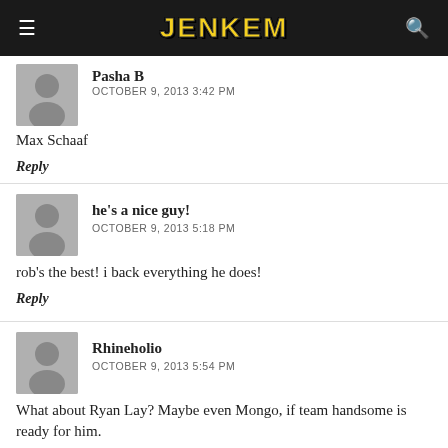JENKEM
Pasha B
OCTOBER 9, 2013 3:42 PM
Max Schaaf
Reply
he's a nice guy!
OCTOBER 9, 2013 5:18 PM
rob's the best! i back everything he does!
Reply
Rhineholio
OCTOBER 9, 2013 5:54 PM
What about Ryan Lay? Maybe even Mongo, if team handsome is ready for him.
Reply
Johnny
OCTOBER 9, 2013 6:16 PM